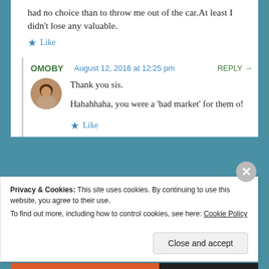had no choice than to throw me out of the car.At least I didn't lose any valuable.
Like
OMOBY  August 12, 2016 at 12:25 pm  REPLY →
Thank you sis.

Hahahhaha, you were a 'bad market' for them o!
Like
Privacy & Cookies: This site uses cookies. By continuing to use this website, you agree to their use.
To find out more, including how to control cookies, see here: Cookie Policy
Close and accept